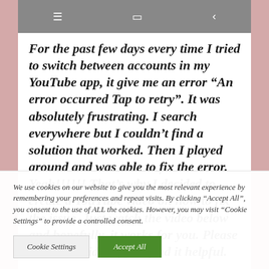[Figure (screenshot): Mobile phone navigation bar with hamburger menu, square/multi-window, and back arrow icons on a dark grey background]
For the past few days every time I tried to switch between accounts in my YouTube app, it give me an error "An error occurred Tap to retry". It was absolutely frustrating. I search everywhere but I couldn't find a solution that worked. Then I played around and was able to fix the error. Yeah!!!!!! That's why I decided to create a YouTube video on how to fix the issue. Just watch the video below and hopefully, it works for you. Please share the video if you find it helpful.
We use cookies on our website to give you the most relevant experience by remembering your preferences and repeat visits. By clicking "Accept All", you consent to the use of ALL the cookies. However, you may visit "Cookie Settings" to provide a controlled consent.
Cookie Settings
Accept All